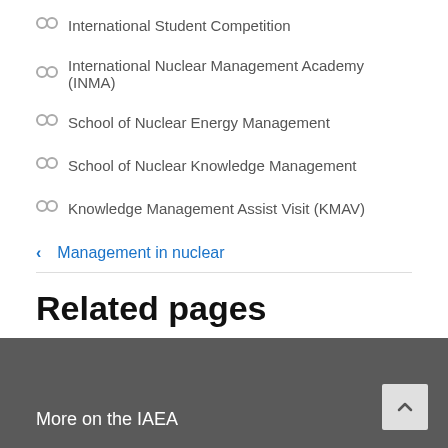International Student Competition
International Nuclear Management Academy (INMA)
School of Nuclear Energy Management
School of Nuclear Knowledge Management
Knowledge Management Assist Visit (KMAV)
‹  Management in nuclear
Related pages
> Nuclear Knowledge Management Section
More on the IAEA